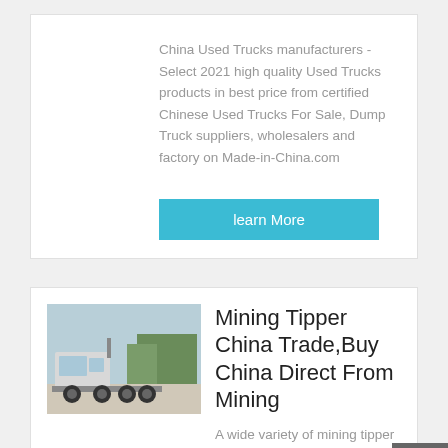China Used Trucks manufacturers - Select 2021 high quality Used Trucks products in best price from certified Chinese Used Trucks For Sale, Dump Truck suppliers, wholesalers and factory on Made-in-China.com
learn More
[Figure (photo): A white heavy truck/tractor unit photographed outdoors with trees in background]
Mining Tipper China Trade,Buy China Direct From Mining
A wide variety of mining tipper options are available to you, such as 1500-